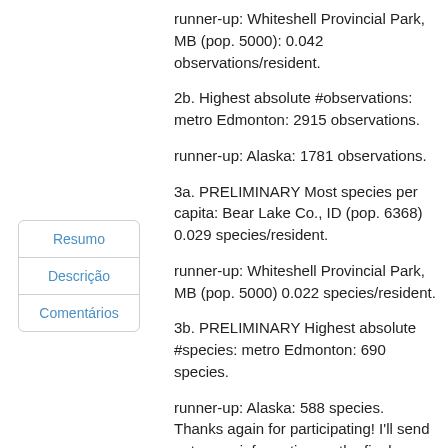runner-up: Whiteshell Provincial Park, MB (pop. 5000): 0.042 observations/resident.
2b. Highest absolute #observations: metro Edmonton: 2915 observations.
runner-up: Alaska: 1781 observations.
3a. PRELIMINARY Most species per capita: Bear Lake Co., ID (pop. 6368) 0.029 species/resident.
runner-up: Whiteshell Provincial Park, MB (pop. 5000) 0.022 species/resident.
3b. PRELIMINARY Highest absolute #species: metro Edmonton: 690 species.
runner-up: Alaska: 588 species.
Thanks again for participating! I'll send out some information on the final species results in 6 weeks. Greg Pohl
Resumo
Descrição
Comentários